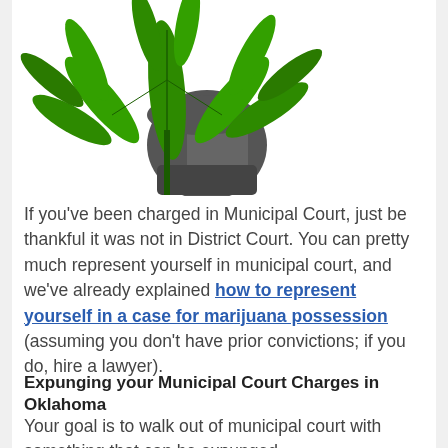[Figure (photo): A hand gripping cannabis marijuana leaves, black and white hand with green cannabis plant leaves overlaid.]
If you've been charged in Municipal Court, just be thankful it was not in District Court. You can pretty much represent yourself in municipal court, and we've already explained how to represent yourself in a case for marijuana possession (assuming you don't have prior convictions; if you do, hire a lawyer).
Expunging your Municipal Court Charges in Oklahoma
Your goal is to walk out of municipal court with something that can be expunged.